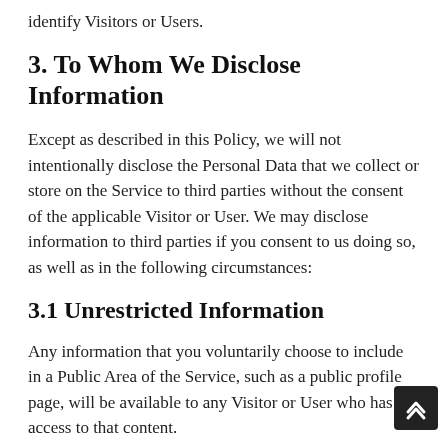identify Visitors or Users.
3. To Whom We Disclose Information
Except as described in this Policy, we will not intentionally disclose the Personal Data that we collect or store on the Service to third parties without the consent of the applicable Visitor or User. We may disclose information to third parties if you consent to us doing so, as well as in the following circumstances:
3.1 Unrestricted Information
Any information that you voluntarily choose to include in a Public Area of the Service, such as a public profile page, will be available to any Visitor or User who has access to that content.